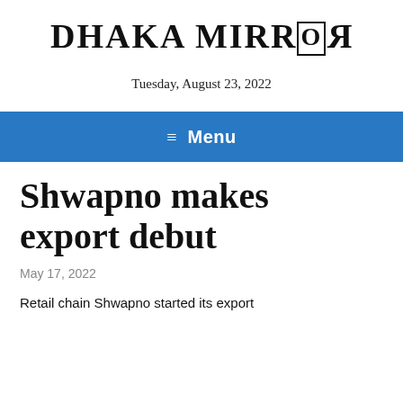DHAKA MIRROR
Tuesday, August 23, 2022
≡ Menu
Shwapno makes export debut
May 17, 2022
Retail chain Shwapno started its export